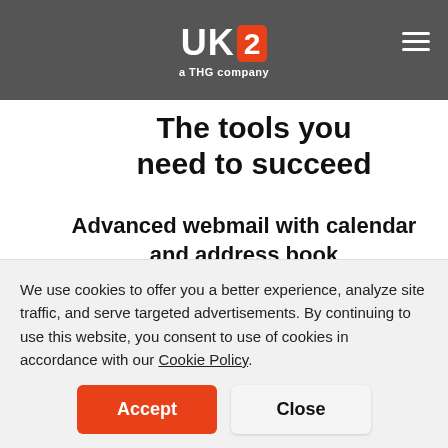UK2 — a THG company
The tools you need to succeed
Advanced webmail with calendar and address book
UK2 Webmail offers more than instant email access everywhere. We also include a built-in calendar and an address
We use cookies to offer you a better experience, analyze site traffic, and serve targeted advertisements. By continuing to use this website, you consent to use of cookies in accordance with our Cookie Policy.